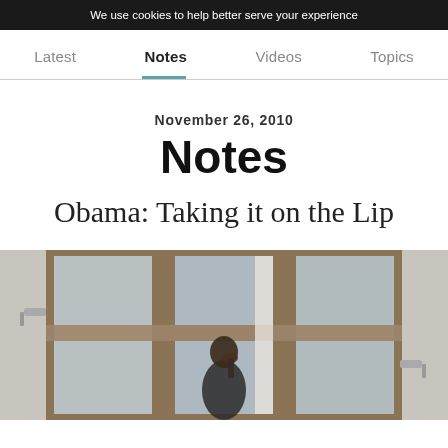We use cookies to help better serve your experience
Latest  Notes  Videos  Topics
November 26, 2010
Notes
Obama: Taking it on the Lip
[Figure (photo): Photo showing a person visible through large window panes of a building, partially obscured by window frame divisions, touching their face.]